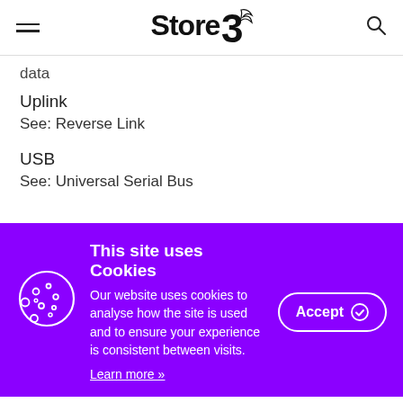Store 3
data
Uplink
See: Reverse Link
USB
See: Universal Serial Bus
This site uses Cookies
Our website uses cookies to analyse how the site is used and to ensure your experience is consistent between visits.
Learn more »